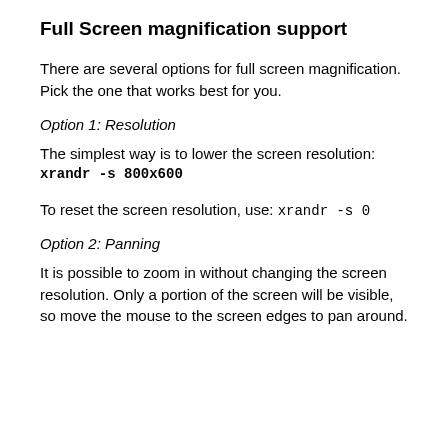Full Screen magnification support
There are several options for full screen magnification. Pick the one that works best for you.
Option 1: Resolution
The simplest way is to lower the screen resolution:
xrandr -s 800x600
To reset the screen resolution, use: xrandr -s 0
Option 2: Panning
It is possible to zoom in without changing the screen resolution. Only a portion of the screen will be visible, so move the mouse to the screen edges to pan around.